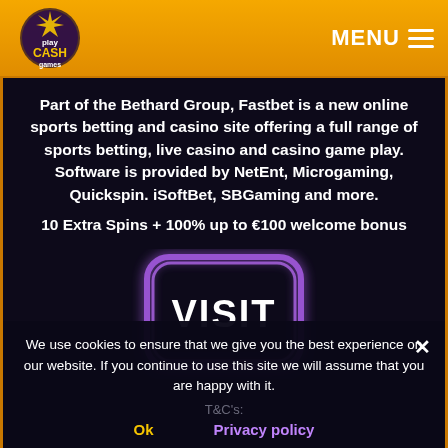play CASH games | MENU
Part of the Bethard Group, Fastbet is a new online sports betting and casino site offering a full range of sports betting, live casino and casino game play. Software is provided by NetEnt, Microgaming, Quickspin. iSoftBet, SBGaming and more.
10 Extra Spins + 100% up to €100 welcome bonus
[Figure (other): VISIT button with neon purple rounded rectangle border glow effect]
We use cookies to ensure that we give you the best experience on our website. If you continue to use this site we will assume that you are happy with it.
T&C's:
Ok    Privacy policy